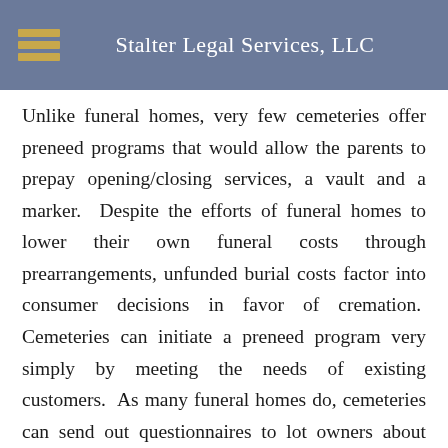Stalter Legal Services, LLC
Unlike funeral homes, very few cemeteries offer preneed programs that would allow the parents to prepay opening/closing services, a vault and a marker.  Despite the efforts of funeral homes to lower their own funeral costs through prearrangements, unfunded burial costs factor into consumer decisions in favor of cremation.  Cemeteries can initiate a preneed program very simply by meeting the needs of existing customers.  As many funeral homes do, cemeteries can send out questionnaires to lot owners about their personal disposition preferences and what steps they have taken towards those costs.  The cemetery's top priority should be those families that have already purchased a traditional prearrangement at a funeral home.  These